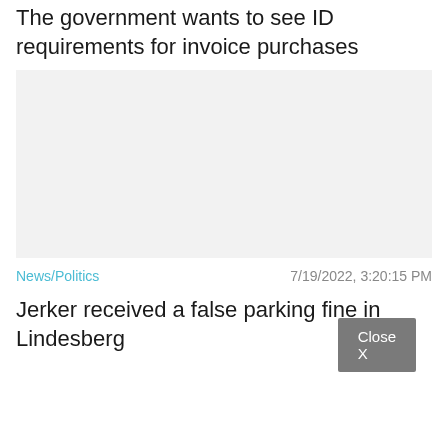The government wants to see ID requirements for invoice purchases
[Figure (photo): Empty light grey image placeholder]
News/Politics   7/19/2022, 3:20:15 PM
Jerker received a false parking fine in Lindesberg
Close X